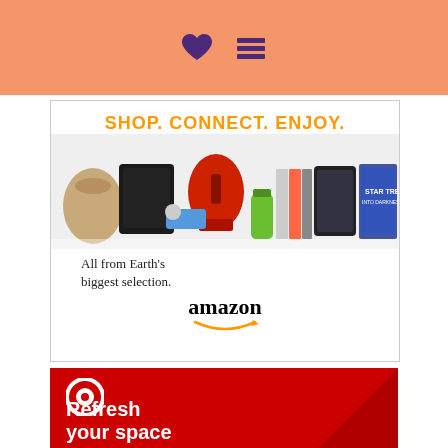[Figure (screenshot): Salmon/peach colored top navigation bar with a purple heart icon and a purple stack/menu icon]
[Figure (screenshot): Amazon advertisement banner showing 'SHOP. CONNECT. ENJOY.' in orange text, product images (handbag, PlayStation, KitchenAid mixer, shoes, books, tablets, Star Trek Blu-ray), 'All from Earth's biggest selection.' text, Amazon logo with smile, and a Privacy label]
[Figure (screenshot): Target advertisement banner with red background, Target bullseye logo in white, and 'Refresh your space' text in white bold font]